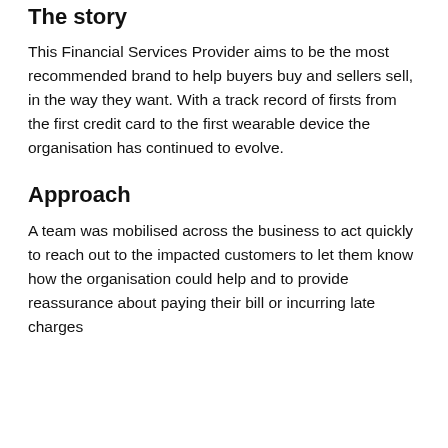The story
This Financial Services Provider aims to be the most recommended brand to help buyers buy and sellers sell, in the way they want. With a track record of firsts from the first credit card to the first wearable device the organisation has continued to evolve.
Approach
A team was mobilised across the business to act quickly to reach out to the impacted customers to let them know how the organisation could help and to provide reassurance about paying their bill or incurring late charges